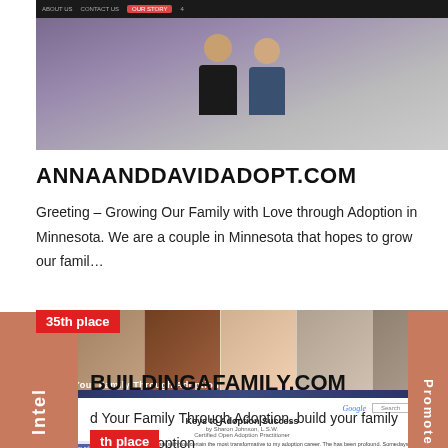[Figure (screenshot): Screenshot of annaanddavidadopt.com showing navigation bar and photo of a couple]
ANNAANDDAVIDADOPT.COM
Greeting – Growing Our Family with Love through Adoption in Minnesota. We are a couple in Minnesota that hopes to grow our famil…
[Figure (screenshot): Screenshot of buildingafamily.com showing 35th place badge, hero banner with family photos and 'Build Your Family Through Adoption' text, and article content]
BUILDINGAFAMILY.COM
d Your Family Through Adoption. build your family through adoption
[Figure (screenshot): Partially visible screenshot showing rank badge 'th place']